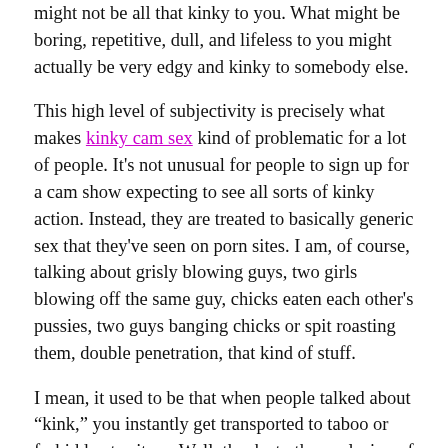might not be all that kinky to you. What might be boring, repetitive, dull, and lifeless to you might actually be very edgy and kinky to somebody else.
This high level of subjectivity is precisely what makes kinky cam sex kind of problematic for a lot of people. It's not unusual for people to sign up for a cam show expecting to see all sorts of kinky action. Instead, they are treated to basically generic sex that they've seen on porn sites. I am, of course, talking about grisly blowing guys, two girls blowing off the same guy, chicks eaten each other's pussies, two guys banging chicks or spit roasting them, double penetration, that kind of stuff.
I mean, it used to be that when people talked about “kink,” you instantly get transported to taboo or forbidden territory. Well, thanks to the explosion of porn and the expansion of most people’s minds regarding what’s possible in terms of sexual adventure, it gets